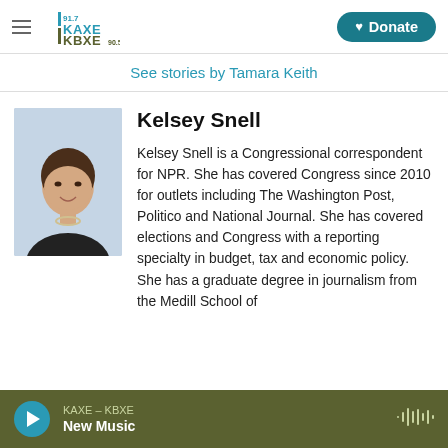KAXE KBXE 91.7 / 90.5 — Donate
See stories by Tamara Keith
[Figure (photo): Headshot photo of Kelsey Snell, a woman with short brown hair wearing a black top and pearl necklace, smiling, with a light blue background.]
Kelsey Snell
Kelsey Snell is a Congressional correspondent for NPR. She has covered Congress since 2010 for outlets including The Washington Post, Politico and National Journal. She has covered elections and Congress with a reporting specialty in budget, tax and economic policy. She has a graduate degree in journalism from the Medill School of
KAXE – KBXE  New Music